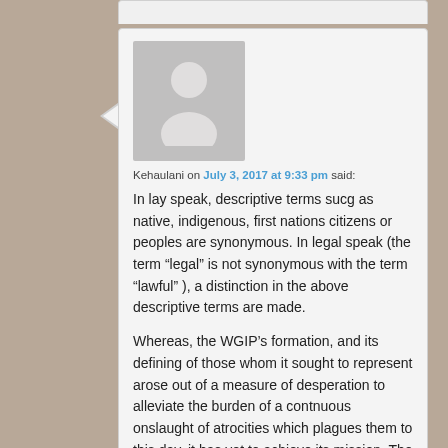[Figure (illustration): Grey avatar/placeholder user icon with light grey background]
Kehaulani on July 3, 2017 at 9:33 pm said:
In lay speak, descriptive terms sucg as native, indigenous, first nations citizens or peoples are synonymous. In legal speak (the term “legal” is not synonymous with the term “lawful” ), a distinction in the above descriptive terms are made.
Whereas, the WGIP’s formation, and its defining of those whom it sought to represent arose out of a measure of desperation to alleviate the burden of a contnuous onslaught of atrocities which plagues them to this day, it has yet to achieve its mission. The reason those indigenous, native, first nations citizens or peoples have yet to experience long-deprived, independent governance over themselves, is the very reason why indigenous